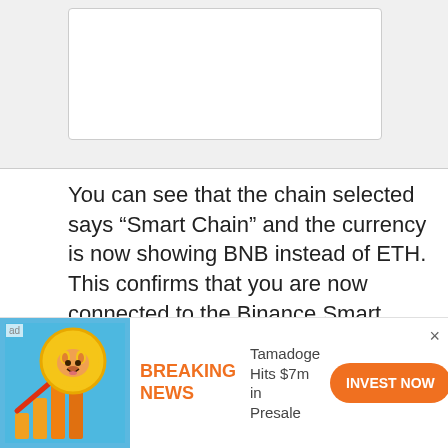[Figure (screenshot): Screenshot of a wallet or DApp interface showing a white box on a grey background, partially visible at the top of the page.]
You can see that the chain selected says “Smart Chain” and the currency is now showing BNB instead of ETH. This confirms that you are now connected to the Binance Smart Chain.
To switch back to the Ethereum network, simply click the menu where it says...
[Figure (infographic): Advertisement banner: Tamadoge crypto coin advertisement with a dog coin logo, bar chart with arrow, orange BREAKING NEWS label, text 'Tamadoge Hits $7m in Presale', and an orange INVEST NOW button.]